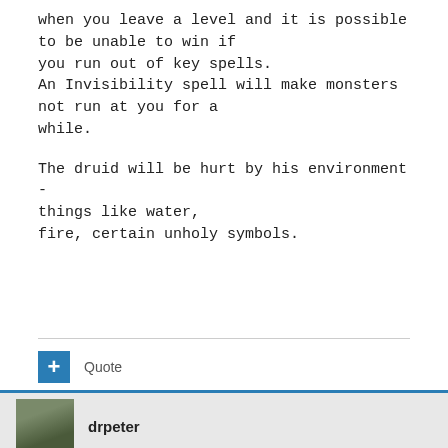when you leave a level and it is possible to be unable to win if you run out of key spells. An Invisibility spell will make monsters not run at you for a while.

The druid will be hurt by his environment - things like water, fire, certain unholy symbols.
Quote
drpeter